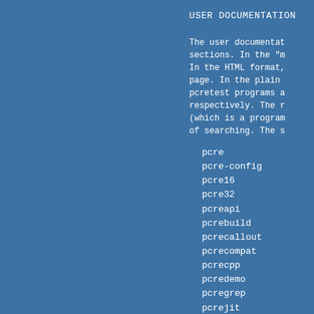USER DOCUMENTATION
The user documentat sections. In the "m In the HTML format, page. In the plain pcretest programs a respectively. The r (which is a program of searching. The s
pcre
pcre-config
pcre16
pcre32
pcreapi
pcrebuild
pcrecallout
pcrecompat
pcrecpp
pcredemo
pcregrep
pcrejit
support
pcrelimits
pcrematching
pcrepartial
pcrepattern
pcreperform
pcreposix
pcreprecompile